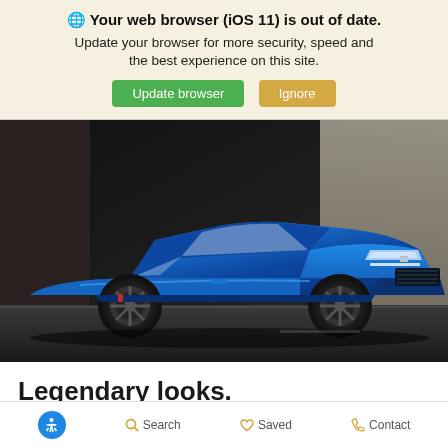🌐 Your web browser (iOS 11) is out of date. Update your browser for more security, speed and the best experience on this site. [Update browser] [Ignore]
[Figure (photo): Blue Chevrolet Camaro sports car parked in a dark garage/studio setting, viewed from a front three-quarter angle. The car is a vibrant metallic blue with black wheels.]
Legendary looks.
Unmistakable Camaro styling is punctuated by a large,
♿  Search  ♡ Saved  📞 Contact